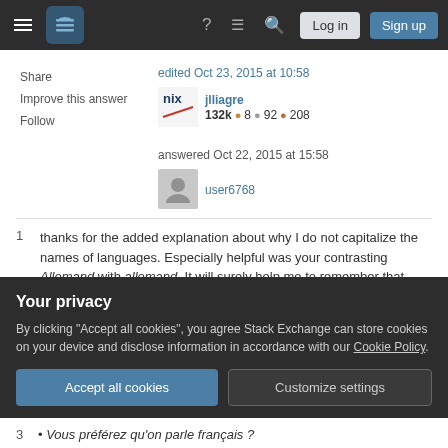Stack Exchange navigation bar with hamburger menu, logo, help, chat, search icons, Log in and Sign up buttons
Share
Improve this answer
Follow
edited Oct 23, 2015 at 10:58
jlliagre
132k ● 8 ● 92 ● 208
answered Oct 22, 2015 at 15:58
user6768
1   thanks for the added explanation about why I do not capitalize the names of languages. Especially helpful was your contrasting Allemand with allemand. It will surely help me to remember that rule, now!   silph
Your privacy
By clicking "Accept all cookies", you agree Stack Exchange can store cookies on your device and disclose information in accordance with our Cookie Policy.
Accept all cookies   Customize settings
Vous préférez qu'on parle français ?